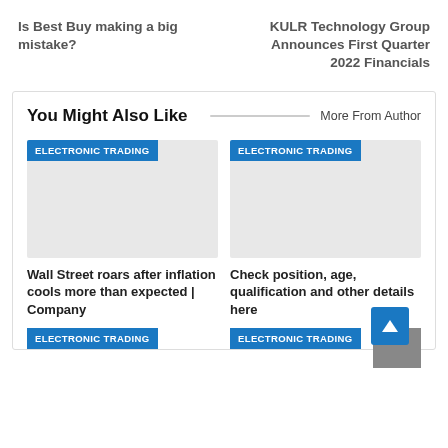Is Best Buy making a big mistake?
KULR Technology Group Announces First Quarter 2022 Financials
You Might Also Like
More From Author
[Figure (photo): Article thumbnail image with ELECTRONIC TRADING badge]
Wall Street roars after inflation cools more than expected | Company
[Figure (photo): Article thumbnail image with ELECTRONIC TRADING badge]
Check position, age, qualification and other details here
ELECTRONIC TRADING
ELECTRONIC TRADING